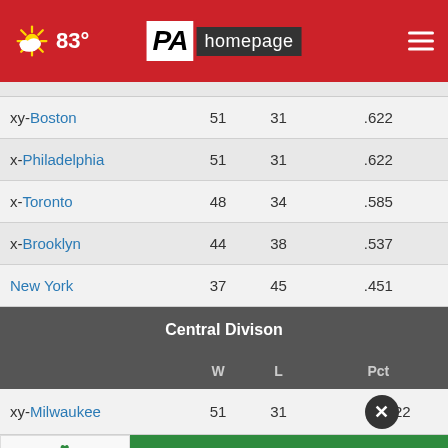PA Homepage — 83° weather header with navigation
| Team | W | L | Pct |
| --- | --- | --- | --- |
| xy-Boston | 51 | 31 | .622 |
| x-Philadelphia | 51 | 31 | .622 |
| x-Toronto | 48 | 34 | .585 |
| x-Brooklyn | 44 | 38 | .537 |
| New York | 37 | 45 | .451 |
| Central Divison |  |  |  |
|  | W | L | Pct |
| xy-Milwaukee | 51 | 31 | .622 |
| x-Chica... |  |  |  |